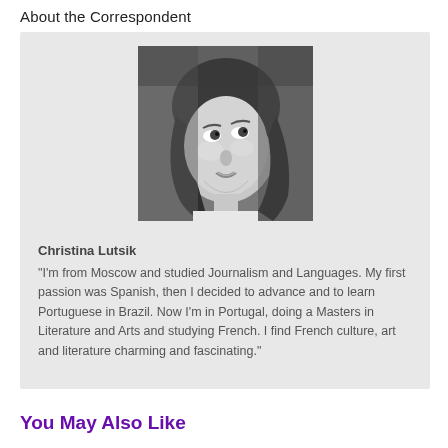About the Correspondent
[Figure (photo): Black and white portrait photo of Christina Lutsik, a young woman looking upward and to the right, with shoulder-length hair.]
Christina Lutsik
"I'm from Moscow and studied Journalism and Languages. My first passion was Spanish, then I decided to advance and to learn Portuguese in Brazil. Now I'm in Portugal, doing a Masters in Literature and Arts and studying French. I find French culture, art and literature charming and fascinating."
You May Also Like